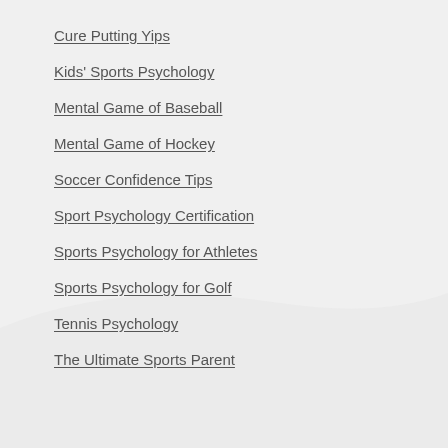Cure Putting Yips
Kids' Sports Psychology
Mental Game of Baseball
Mental Game of Hockey
Soccer Confidence Tips
Sport Psychology Certification
Sports Psychology for Athletes
Sports Psychology for Golf
Tennis Psychology
The Ultimate Sports Parent